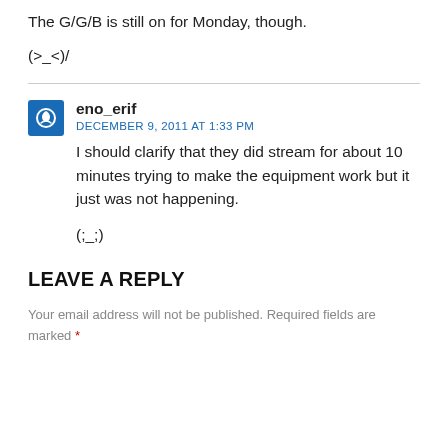The G/G/B is still on for Monday, though.
(>_<)/
eno_erif
DECEMBER 9, 2011 AT 1:33 PM
I should clarify that they did stream for about 10 minutes trying to make the equipment work but it just was not happening.
(;_;)
LEAVE A REPLY
Your email address will not be published. Required fields are marked *